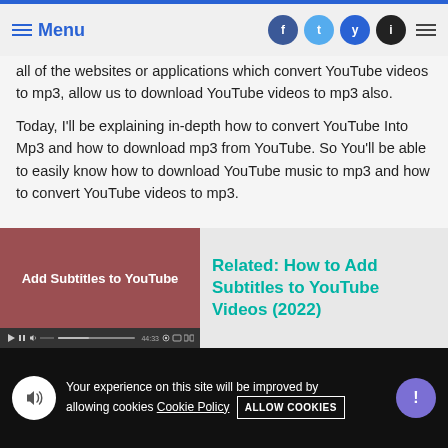Menu
all of the websites or applications which convert YouTube videos to mp3, allow us to download YouTube videos to mp3 also.
Today, I'll be explaining in-depth how to convert YouTube Into Mp3 and how to download mp3 from YouTube. So You'll be able to easily know how to download YouTube music to mp3 and how to convert YouTube videos to mp3.
[Figure (screenshot): Video thumbnail showing 'Add Subtitles to YouTube' with a video player control bar]
Related: How to Add Subtitles to YouTube Videos (2022)
Your experience on this site will be improved by allowing cookies Cookie Policy ALLOW COOKIES